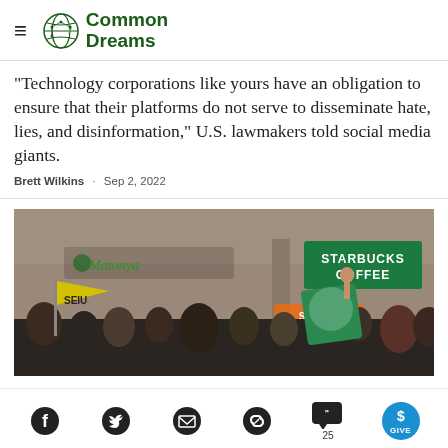Common Dreams
"Technology corporations like yours have an obligation to ensure that their platforms do not serve to disseminate hate, lies, and disinformation," U.S. lawmakers told social media giants.
Brett Wilkins · Sep 2, 2022
[Figure (photo): Crowd of protesters outside a Starbucks Coffee store, holding yellow SEIU flags and green Starbucks Workers United signs, with people shouting and raising fists.]
Social sharing icons: Facebook, Twitter, Email, Link, Comments (25), Give